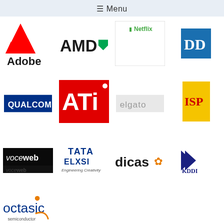☰ Menu
[Figure (logo): Adobe logo - red stylized A mark with Adobe wordmark below]
[Figure (logo): AMD logo - black AMD text with green arrow mark]
[Figure (logo): Netflix logo - partially visible green N mark with Netflix text]
[Figure (logo): DD (Dolby Digital) logo - blue square with DD mark, partially clipped]
[Figure (logo): Qualcomm logo - blue rectangle with white QUALCOMM text]
[Figure (logo): ATi logo - red square with white ATI text]
[Figure (logo): Elgato logo - grey rectangle with elgato text]
[Figure (logo): ISP logo - yellow rectangle, partially clipped]
[Figure (logo): VoceWeb logo - black background with voceweb text and reflection]
[Figure (logo): Tata Elxsi Engineering Creativity logo]
[Figure (logo): Dicas logo with orange gear/flower mark]
[Figure (logo): KDDI logo - blue/navy K mark with KDDI text]
[Figure (logo): Octasic Semiconductor logo - orange accent with Communicate. Your Way. tagline]
Contact Information